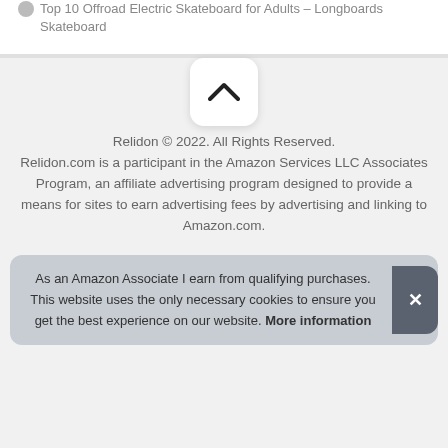Top 10 Offroad Electric Skateboard for Adults – Longboards Skateboard
[Figure (other): Scroll to top button with upward chevron icon]
Relidon © 2022. All Rights Reserved. Relidon.com is a participant in the Amazon Services LLC Associates Program, an affiliate advertising program designed to provide a means for sites to earn advertising fees by advertising and linking to Amazon.com.
As an Amazon Associate I earn from qualifying purchases. This website uses the only necessary cookies to ensure you get the best experience on our website. More information